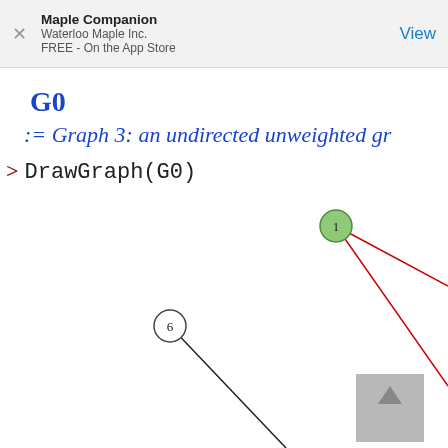Maple Companion
Waterloo Maple Inc.
FREE - On the App Store
G0
:= Graph 3: an undirected unweighted gr...
> DrawGraph(G0)
[Figure (network-graph): A partial view of a graph drawn with DrawGraph(G0). Node 1 is shown as a filled green circle in the upper right area with red edges extending from it toward the right. Node 6 is shown as an open circle in the middle-left area with a black edge extending diagonally downward to the lower right. A scroll-up button is visible in the lower right.]